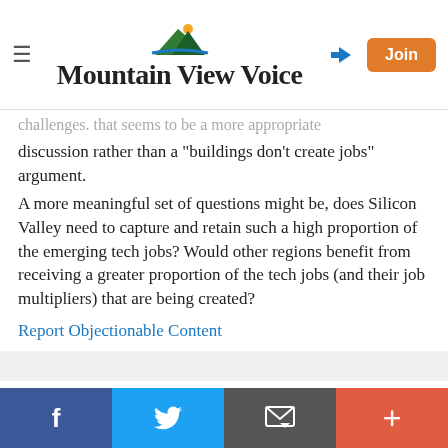Mountain View Voice
challenges. That seems to be a more appropriate discussion rather than a "buildings don't create jobs" argument.
A more meaningful set of questions might be, does Silicon Valley need to capture and retain such a high proportion of the emerging tech jobs? Would other regions benefit from receiving a greater proportion of the tech jobs (and their job multipliers) that are being created?
Report Objectionable Content
Posted by Bliss, a resident of another community, on Aug 6, 2016 at 6:13 pm
Buildings don't create jobs? It's the consumer demand for...
Facebook | Twitter | Email | +